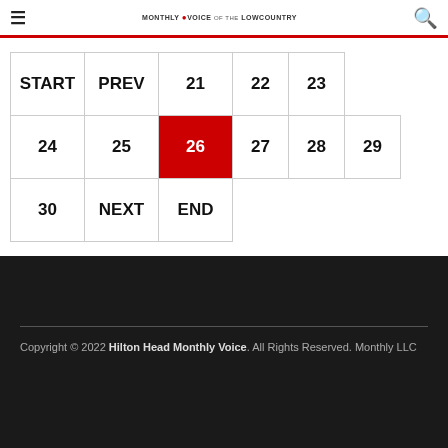≡  MONTHLY VOICE of the LOWCOUNTRY  🔍
| START | PREV | 21 | 22 | 23 |
| 24 | 25 | 26 | 27 | 28 | 29 |
| 30 | NEXT | END |
Copyright © 2022 Hilton Head Monthly Voice. All Rights Reserved. Monthly LLC